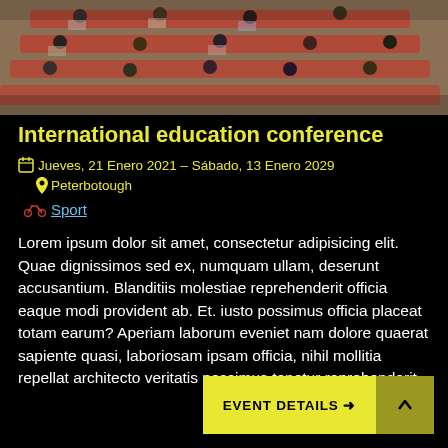[Figure (photo): Aerial view of conference attendees seated in auditorium-style red chairs, viewed from above, looking at papers and laptops]
International education conference
📅 Jueves, 21 Enero 2021 – Sábado, 13 Enero 2029   📍 Peterbotough
🚴 Sport
Lorem ipsum dolor sit amet, consectetur adipisicing elit. Quae dignissimos sed ex, numquam ullam, deserunt accusantium. Blanditiis molestiae reprehenderit officia eaque modi provident ab. Et. iusto possimus officia placeat totam earum? Aperiam laborum eveniet nam dolore quaerat sapiente quasi, laboriosam ipsam officia, nihil mollitia repellat architecto veritatis possimus tenetur reprehenderit.
EVENT DETAILS →